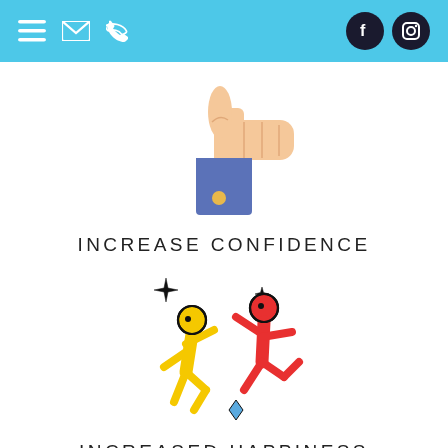Navigation bar with menu, email, phone icons and Facebook, Instagram social icons
[Figure (illustration): Thumbs up hand icon with blue sleeve and gold cufflink button]
INCREASE CONFIDENCE
[Figure (illustration): Two dancing figures (yellow and red) with sparkle/diamond symbols around them]
INCREASED HAPPINESS